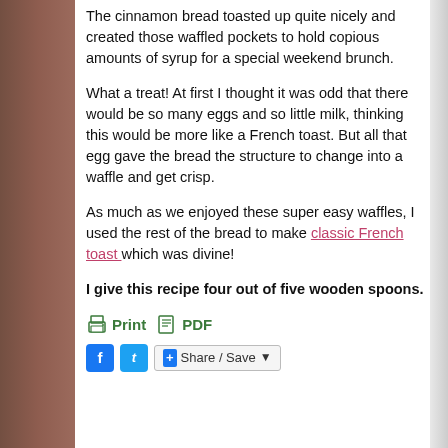The cinnamon bread toasted up quite nicely and created those waffled pockets to hold copious amounts of syrup for a special weekend brunch.
What a treat! At first I thought it was odd that there would be so many eggs and so little milk, thinking this would be more like a French toast. But all that egg gave the bread the structure to change into a waffle and get crisp.
As much as we enjoyed these super easy waffles, I used the rest of the bread to make classic French toast which was divine!
I give this recipe four out of five wooden spoons.
[Figure (infographic): Print and PDF buttons with printer and document icons, followed by Facebook, Twitter, and Share/Save social sharing buttons]